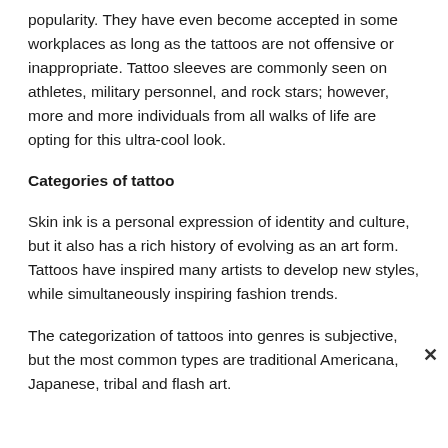popularity. They have even become accepted in some workplaces as long as the tattoos are not offensive or inappropriate. Tattoo sleeves are commonly seen on athletes, military personnel, and rock stars; however, more and more individuals from all walks of life are opting for this ultra-cool look.
Categories of tattoo
Skin ink is a personal expression of identity and culture, but it also has a rich history of evolving as an art form. Tattoos have inspired many artists to develop new styles, while simultaneously inspiring fashion trends.
The categorization of tattoos into genres is subjective, but the most common types are traditional Americana, Japanese, tribal and flash art.